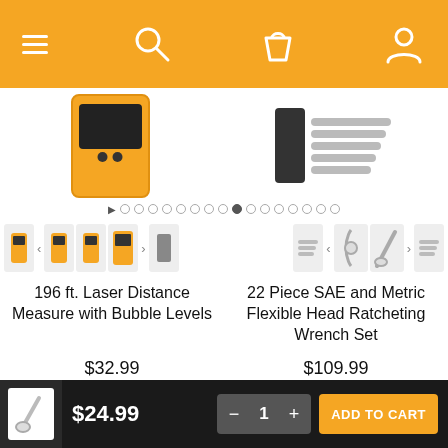[Figure (screenshot): Orange navigation bar with hamburger menu, search icon, shopping bag icon, and user account icon on white background]
[Figure (screenshot): Product carousel showing laser distance measure device and wrench set images with dot pagination indicators]
[Figure (screenshot): Product thumbnail navigation row for laser distance measure (multiple angles with left/right arrows) and wrench set thumbnails]
196 ft. Laser Distance Measure with Bubble Levels
22 Piece SAE and Metric Flexible Head Ratcheting Wrench Set
$32.99
$109.99
Add To Cart
Sold out
[Figure (screenshot): Bottom preview of wrench set product image partially visible]
$24.99
1
ADD TO CART